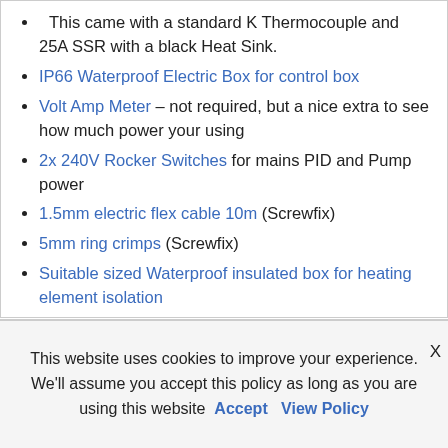This came with a standard K Thermocouple and 25A SSR with a black Heat Sink.
IP66 Waterproof Electric Box for control box
Volt Amp Meter – not required, but a nice extra to see how much power your using
2x 240V Rocker Switches for mains PID and Pump power
1.5mm electric flex cable 10m (Screwfix)
5mm ring crimps (Screwfix)
Suitable sized Waterproof insulated box for heating element isolation
This website uses cookies to improve your experience. We'll assume you accept this policy as long as you are using this website Accept View Policy